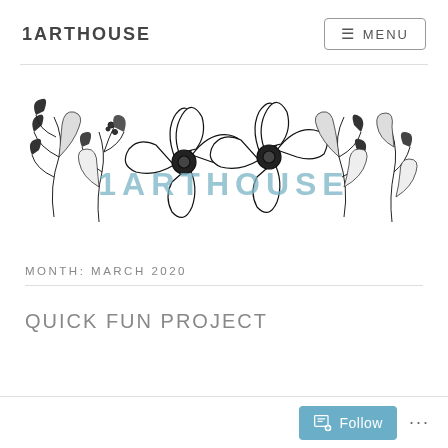1ARTHOUSE
MENU
[Figure (illustration): Floral line-art illustration with hibiscus flowers and botanical leaves, overlaid with the watermark text '1ARTHOUSE' in teal/steel-blue color]
MONTH: MARCH 2020
QUICK FUN PROJECT
Follow ...